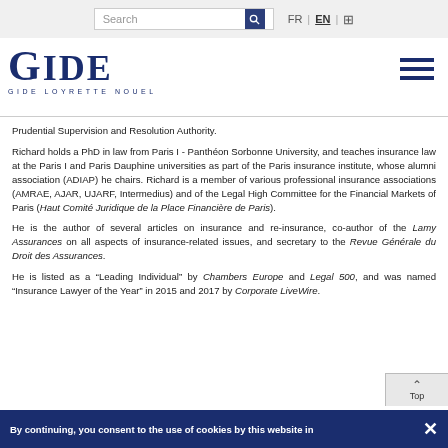Search | FR | EN
[Figure (logo): GIDE LOYRETTE NOUEL law firm logo]
Prudential Supervision and Resolution Authority.
Richard holds a PhD in law from Paris I - Panthéon Sorbonne University, and teaches insurance law at the Paris I and Paris Dauphine universities as part of the Paris insurance institute, whose alumni association (ADIAP) he chairs. Richard is a member of various professional insurance associations (AMRAE, AJAR, UJARF, Intermedius) and of the Legal High Committee for the Financial Markets of Paris (Haut Comité Juridique de la Place Financière de Paris).
He is the author of several articles on insurance and re-insurance, co-author of the Lamy Assurances on all aspects of insurance-related issues, and secretary to the Revue Générale du Droit des Assurances.
He is listed as a "Leading Individual" by Chambers Europe and Legal 500, and was named "Insurance Lawyer of the Year" in 2015 and 2017 by Corporate LiveWire.
By continuing, you consent to the use of cookies by this website in